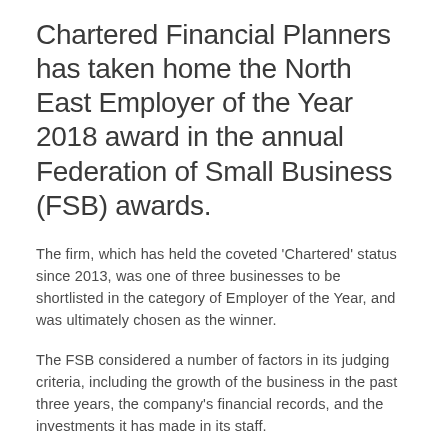Chartered Financial Planners has taken home the North East Employer of the Year 2018 award in the annual Federation of Small Business (FSB) awards.
The firm, which has held the coveted 'Chartered' status since 2013, was one of three businesses to be shortlisted in the category of Employer of the Year, and was ultimately chosen as the winner.
The FSB considered a number of factors in its judging criteria, including the growth of the business in the past three years, the company's financial records, and the investments it has made in its staff.
In addition to its 'Chartered' status, Active has also held the Gold standard Investors in People accreditation